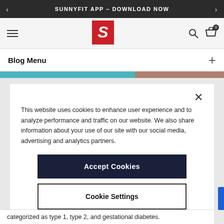SUNNYFIT APP – DOWNLOAD NOW
[Figure (logo): Sunny Health & Fitness logo — red square with white S figure]
Blog Menu
[Figure (screenshot): Partial website image strip with teal and brown/rose tones]
This website uses cookies to enhance user experience and to analyze performance and traffic on our website. We also share information about your use of our site with our social media, advertising and analytics partners.
Accept Cookies
Cookie Settings
categorized as type 1, type 2, and gestational diabetes.